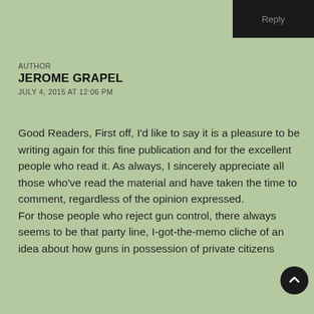Reply
AUTHOR
JEROME GRAPEL
JULY 4, 2015 AT 12:06 PM
Good Readers, First off, I'd like to say it is a pleasure to be writing again for this fine publication and for the excellent people who read it. As always, I sincerely appreciate all those who've read the material and have taken the time to comment, regardless of the opinion expressed.
For those people who reject gun control, there always seems to be that party line, I-got-the-memo cliche of an idea about how guns in possession of private citizens